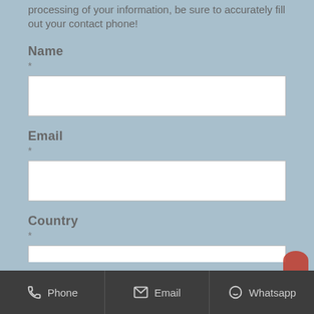processing of your information, be sure to accurately fill out your contact phone!
Name
*
Email
*
Country
*
Phone   Email   Whatsapp